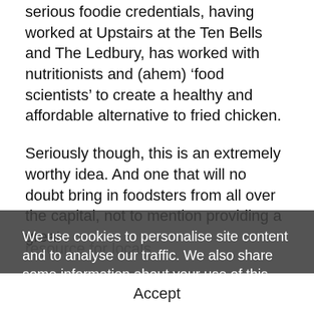serious foodie credentials, having worked at Upstairs at the Ten Bells and The Ledbury, has worked with nutritionists and (ahem) ‘food scientists’ to create a healthy and affordable alternative to fried chicken.
Seriously though, this is an extremely worthy idea. And one that will no doubt bring in foodsters from all over the capital, not to mention providing a great resource for locals.
Chicken Townie is also a not-for-profit company and will reap revenue for local young people. Over the last three years of operation the restaurant is expected to create over 40 new jobs for the area. Money raised in the evenings will fund daytime meals for local young people and the project wi
We use cookies to personalise site content and to analyse our traffic. We also share some information about your use of this site with our advertising partners.
Privacy Policy
Accept